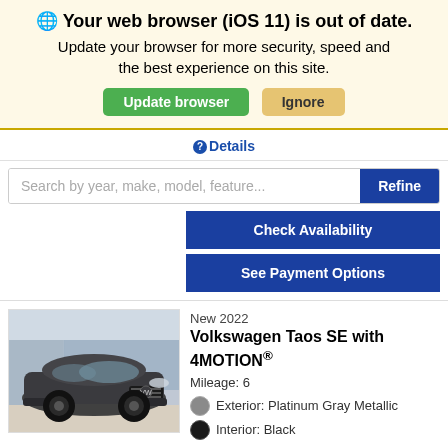🌐 Your web browser (iOS 11) is out of date. Update your browser for more security, speed and the best experience on this site. Update browser | Ignore
Details
Search by year, make, model, feature...
Refine
Check Availability
See Payment Options
[Figure (photo): Dark gray Volkswagen Taos SUV parked in front of a glass building]
New 2022
Volkswagen Taos SE with 4MOTION®
Mileage: 6
Exterior: Platinum Gray Metallic
Interior: Black